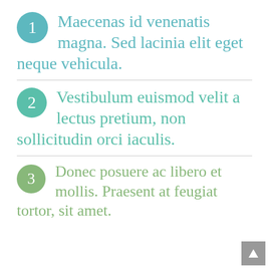1 Maecenas id venenatis magna. Sed lacinia elit eget neque vehicula.
2 Vestibulum euismod velit a lectus pretium, non sollicitudin orci iaculis.
3 Donec posuere ac libero et mollis. Praesent at feugiat tortor, sit amet.